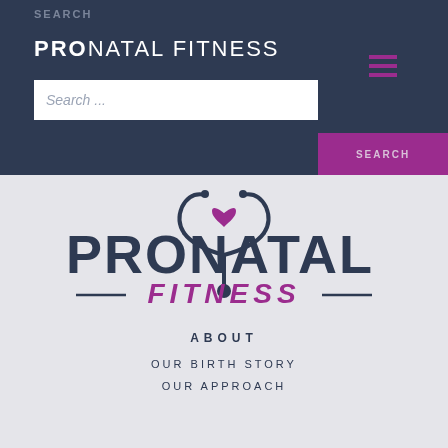SEARCH
PRONATAL FITNESS
Search ...
SEARCH
[Figure (logo): ProNatal Fitness logo with stethoscope graphic forming a Y shape with a purple heart at the top, and the text PRONATAL in dark navy bold uppercase with FITNESS in purple italic uppercase below, flanked by horizontal lines]
ABOUT
OUR BIRTH STORY
OUR APPROACH